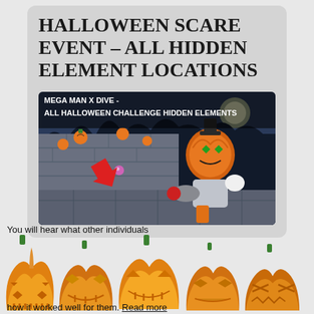HALLOWEEN SCARE EVENT – ALL HIDDEN ELEMENT LOCATIONS
[Figure (screenshot): Screenshot from Mega Man X Dive showing the Halloween challenge stage with a pumpkin-headed robot character and a red arrow pointing to a hidden element. Text overlay reads: MEGA MAN X DIVE - ALL HALLOWEEN CHALLENGE HIDDEN ELEMENTS]
[Figure (illustration): Row of five carved jack-o-lantern pumpkins with various face designs overlaid on the bottom of the page]
You will hear what other individuals how it worked well for them. Read more